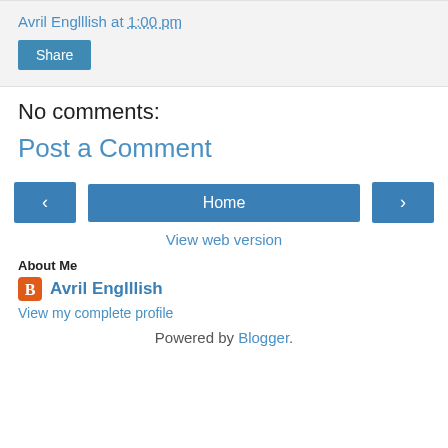Avril Englllish at 1:00 pm
Share
No comments:
Post a Comment
‹ Home ›
View web version
About Me
Avril Englllish
View my complete profile
Powered by Blogger.